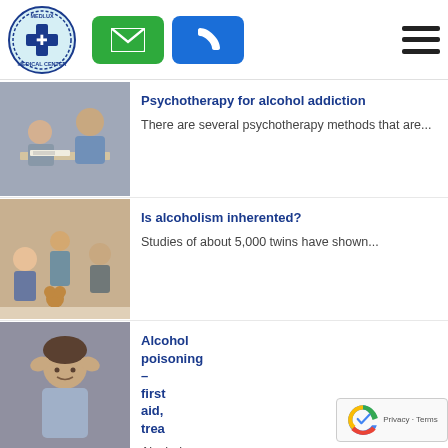MEDLUX MEDICAL CENTER — navigation header with logo, email button, phone button, menu
[Figure (photo): Therapy session photo showing two people at a desk]
Psychotherapy for alcohol addiction
There are several psychotherapy methods that are...
[Figure (photo): Child standing with teddy bear, distressed family in background]
Is alcoholism inherented?
Studies of about 5,000 twins have shown...
[Figure (photo): Man holding his head in distress]
Alcohol poisoning – first aid, trea
Alcohol poisoning is the intoxica the...